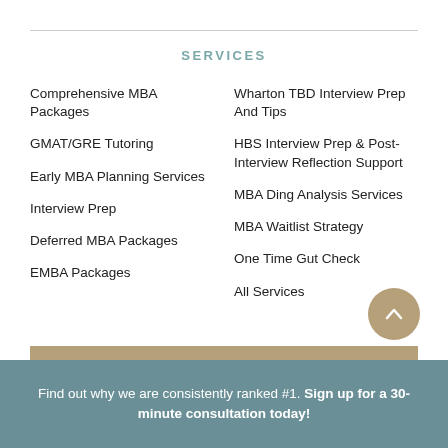SERVICES
Comprehensive MBA Packages
GMAT/GRE Tutoring
Early MBA Planning Services
Interview Prep
Deferred MBA Packages
EMBA Packages
Wharton TBD Interview Prep And Tips
HBS Interview Prep & Post-Interview Reflection Support
MBA Ding Analysis Services
MBA Waitlist Strategy
One Time Gut Check
All Services
Find out why we are consistently ranked #1. Sign up for a 30-minute consultation today!